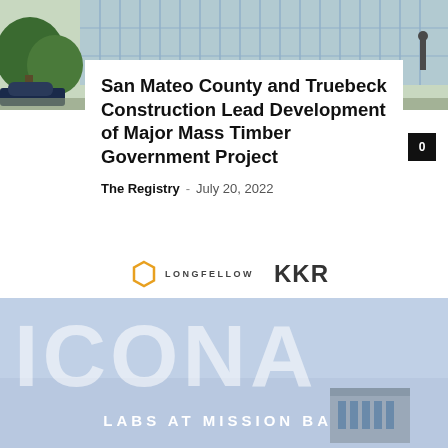[Figure (photo): Exterior photo of a glass-facade building with green trees and a parked car in the foreground]
San Mateo County and Truebeck Construction Lead Development of Major Mass Timber Government Project
The Registry – July 20, 2022
[Figure (logo): Longfellow hexagon logo with text LONGFELLOW and KKR logos side by side]
[Figure (illustration): ICONA LABS AT MISSION BAY promotional image with large stylized white letters on light blue background and building rendering]